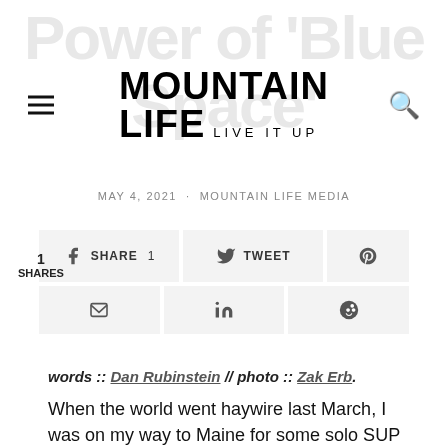MOUNTAIN LIFE LIVE IT UP
MAY 4, 2021 · MOUNTAIN LIFE MEDIA
1 SHARES — SHARE 1 | TWEET | Pinterest | Email | LinkedIn | Reddit
words :: Dan Rubinstein // photo :: Zak Erb.
When the world went haywire last March, I was on my way to Maine for some solo SUP surfing. I had just dropped off my wife and daughters at the Ottawa airport, bound for a